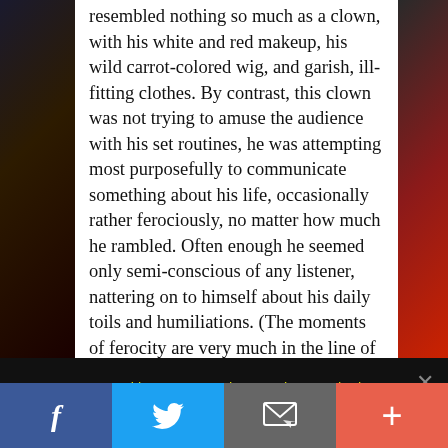resembled nothing so much as a clown, with his white and red makeup, his wild carrot-colored wig, and garish, ill-fitting clothes. By contrast, this clown was not trying to amuse the audience with his set routines, he was attempting most purposefully to communicate something about his life, occasionally rather ferociously, no matter how much he rambled. Often enough he seemed only semi-conscious of any listener, nattering on to himself about his daily toils and humiliations. (The moments of ferocity are very much in the line of Daffy Duck, and Geoffrey Rush can be every bit as sharp and menacing as Daffy.) The appearance of the garret was more like how he might
We use cookies to ensure that we give you the best experience on our website. If you continue to use this site we will assume that you are happy with it.